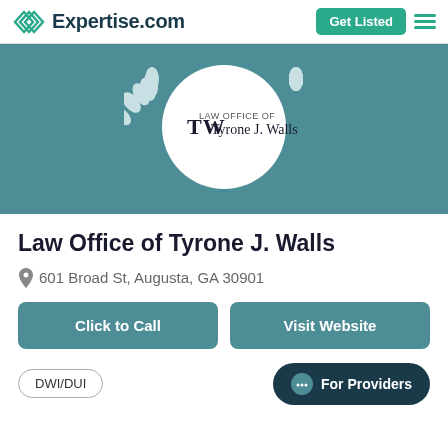Expertise.com
[Figure (logo): Law Office of Tyrone J. Walls logo — circular white medallion with laurel wreath on teal/slate blue background]
Law Office of Tyrone J. Walls
601 Broad St, Augusta, GA 30901
Click to Call
Visit Website
DWI/DUI
For Providers